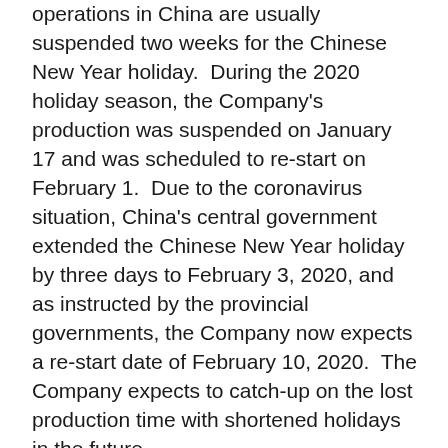operations in China are usually suspended two weeks for the Chinese New Year holiday.  During the 2020 holiday season, the Company's production was suspended on January 17 and was scheduled to re-start on February 1.  Due to the coronavirus situation, China's central government extended the Chinese New Year holiday by three days to February 3, 2020, and as instructed by the provincial governments, the Company now expects a re-start date of February 10, 2020.  The Company expects to catch-up on the lost production time with shortened holidays in the future.
About SilvercorpSilvercorp is a profitable Canadian mining company producing silver, lead and zinc metals in concentrates from mines in China.  The Company's goal is to continuously create healthy returns to shareholders through efficient management, organic growth and the acquisition of profitable projects. Silvercorp's long-term profitability objectives...